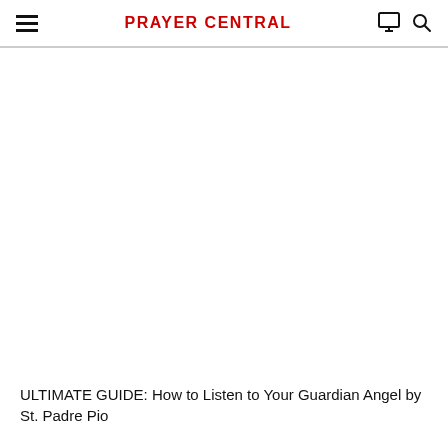PRAYER CENTRAL
ULTIMATE GUIDE: How to Listen to Your Guardian Angel by St. Padre Pio